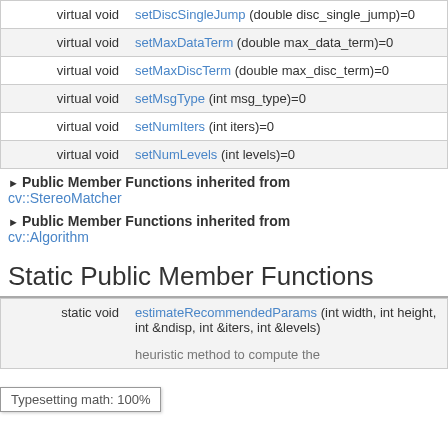| type | signature |
| --- | --- |
| virtual void | setDiscSingleJump (double disc_single_jump)=0 |
| virtual void | setMaxDataTerm (double max_data_term)=0 |
| virtual void | setMaxDiscTerm (double max_disc_term)=0 |
| virtual void | setMsgType (int msg_type)=0 |
| virtual void | setNumIters (int iters)=0 |
| virtual void | setNumLevels (int levels)=0 |
▶ Public Member Functions inherited from cv::StereoMatcher
▶ Public Member Functions inherited from cv::Algorithm
Static Public Member Functions
| type | signature |
| --- | --- |
| static void | estimateRecommendedParams (int width, int height, int &ndisp, int &iters, int &levels) |
|  | heuristic method to compute the |
Typesetting math: 100%